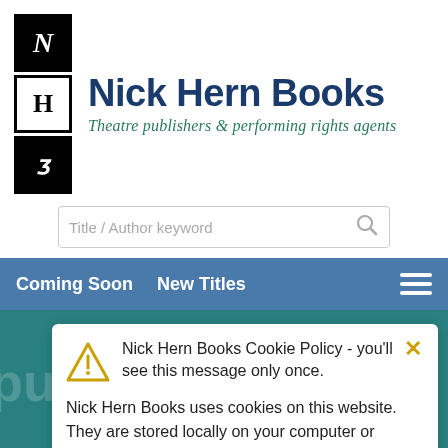[Figure (logo): Nick Hern Books logo with three stacked square blocks: N (white on black), H (black on white), B (white on black serif script), beside large blue bold text 'Nick Hern Books' and green italic tagline 'Theatre publishers & performing arts agents']
[Figure (screenshot): Search input box with placeholder text 'Title / Author keyword' and a magnifying glass icon on the right]
Coming Soon   New Titles
Nick Hern Books Cookie Policy - you'll see this message only once.
Nick Hern Books uses cookies on this website. They are stored locally on your computer or mobile device. To accept cookies continue browsing as normal. Or go to the cookie policy for more information and preferences.